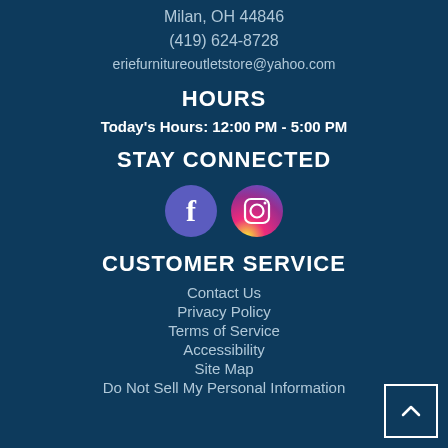Milan, OH 44846
(419) 624-8728
eriefurnitureoutletstore@yahoo.com
HOURS
Today's Hours: 12:00 PM - 5:00 PM
STAY CONNECTED
[Figure (illustration): Facebook and Instagram social media icons as circular buttons]
CUSTOMER SERVICE
Contact Us
Privacy Policy
Terms of Service
Accessibility
Site Map
Do Not Sell My Personal Information